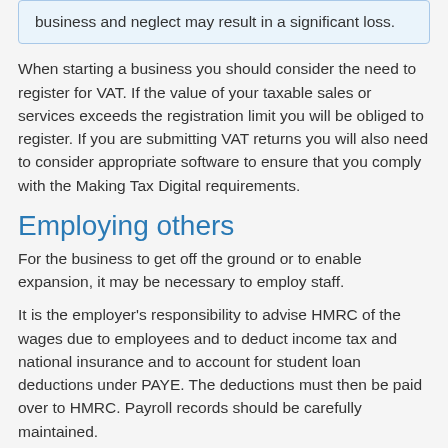business and neglect may result in a significant loss.
When starting a business you should consider the need to register for VAT. If the value of your taxable sales or services exceeds the registration limit you will be obliged to register. If you are submitting VAT returns you will also need to consider appropriate software to ensure that you comply with the Making Tax Digital requirements.
Employing others
For the business to get off the ground or to enable expansion, it may be necessary to employ staff.
It is the employer's responsibility to advise HMRC of the wages due to employees and to deduct income tax and national insurance and to account for student loan deductions under PAYE. The deductions must then be paid over to HMRC. Payroll records should be carefully maintained.